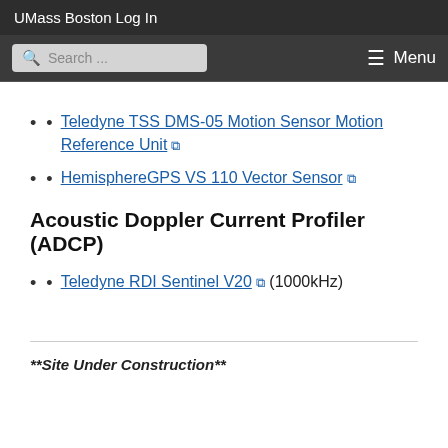UMass BostonLog In
Teledyne TSS DMS-05 Motion Sensor Motion Reference Unit [external link]
HemisphereGPS VS 110 Vector Sensor [external link]
Acoustic Doppler Current Profiler (ADCP)
Teledyne RDI Sentinel V20 [external link] (1000kHz)
**Site Under Construction**